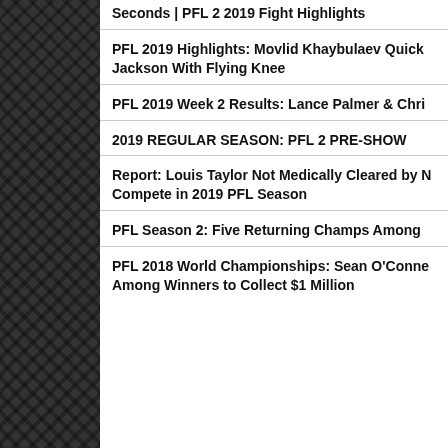Seconds | PFL 2 2019 Fight Highlights
PFL 2019 Highlights: Movlid Khaybulaev Quick Jackson With Flying Knee
PFL 2019 Week 2 Results: Lance Palmer & Chri
2019 REGULAR SEASON: PFL 2 PRE-SHOW
Report: Louis Taylor Not Medically Cleared by N Compete in 2019 PFL Season
PFL Season 2: Five Returning Champs Among
PFL 2018 World Championships: Sean O'Conne Among Winners to Collect $1 Million